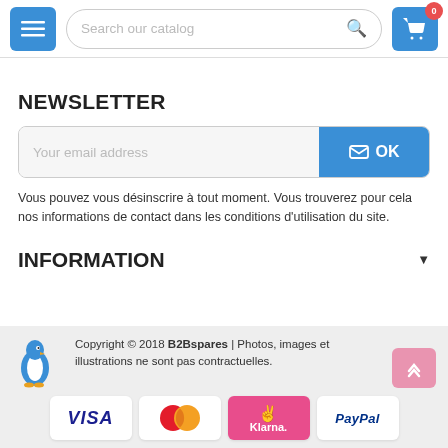[Figure (screenshot): E-commerce website header with hamburger menu button, search bar 'Search our catalog', and shopping cart icon with badge showing 0]
NEWSLETTER
[Figure (other): Email subscription form with 'Your email address' placeholder input and blue OK button with envelope icon]
Vous pouvez vous désinscrire à tout moment. Vous trouverez pour cela nos informations de contact dans les conditions d'utilisation du site.
INFORMATION
Copyright © 2018 B2Bspares | Photos, images et illustrations ne sont pas contractuelles.
[Figure (other): Payment method logos: VISA, MasterCard, Klarna, PayPal]